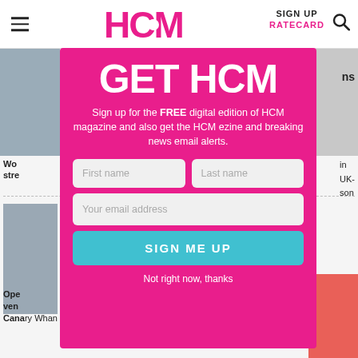HCM | SIGN UP | RATECARD
[Figure (screenshot): HCM website background showing article thumbnails and partial text]
GET HCM
Sign up for the FREE digital edition of HCM magazine and also get the HCM ezine and breaking news email alerts.
First name
Last name
Your email address
SIGN ME UP
Not right now, thanks